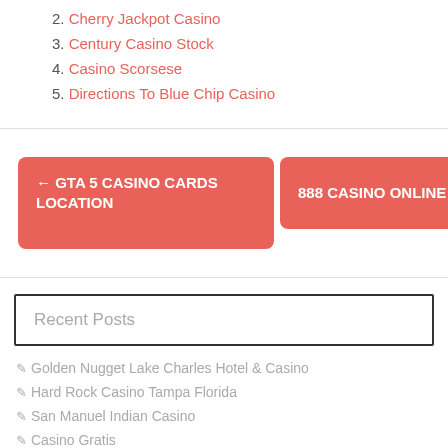2. Cherry Jackpot Casino
3. Century Casino Stock
4. Casino Scorsese
5. Directions To Blue Chip Casino
← GTA 5 CASINO CARDS LOCATION
888 CASINO ONLINE →
Recent Posts
Golden Nugget Lake Charles Hotel & Casino
Hard Rock Casino Tampa Florida
San Manuel Indian Casino
Casino Gratis
Harlow's Casino Greensville Ms